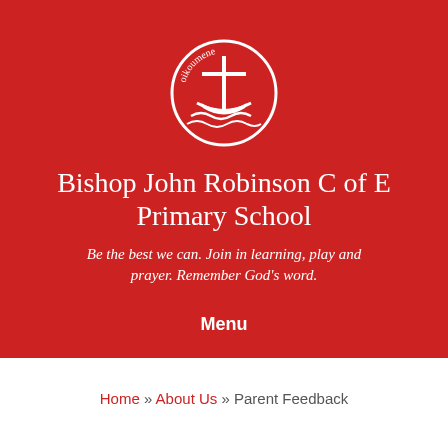[Figure (logo): Circular logo with a cross and boat, text reading 'oikoumene' around the circle, white on red background]
Bishop John Robinson C of E Primary School
Be the best we can. Join in learning, play and prayer. Remember God's word.
Menu
Home » About Us » Parent Feedback